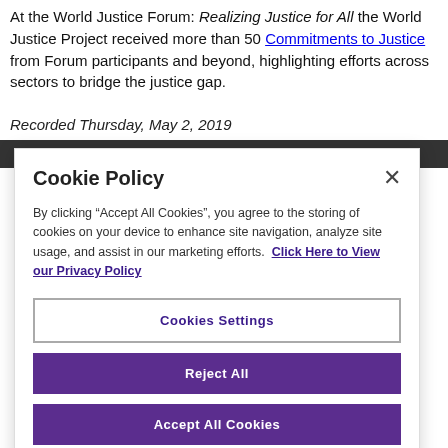At the World Justice Forum: Realizing Justice for All the World Justice Project received more than 50 Commitments to Justice from Forum participants and beyond, highlighting efforts across sectors to bridge the justice gap.
Recorded Thursday, May 2, 2019
Cookie Policy
By clicking “Accept All Cookies”, you agree to the storing of cookies on your device to enhance site navigation, analyze site usage, and assist in our marketing efforts. Click Here to View our Privacy Policy
Cookies Settings
Reject All
Accept All Cookies